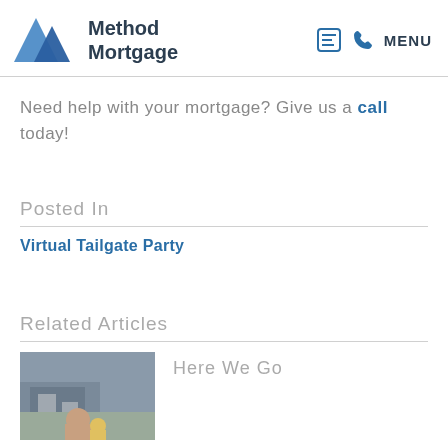Method Mortgage | MENU
Need help with your mortgage? Give us a call today!
Posted In
Virtual Tailgate Party
Related Articles
Here We Go